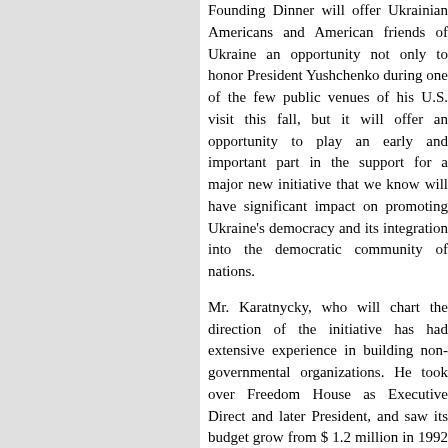Founding Dinner will offer Ukrainian Americans and American friends of Ukraine an opportunity not only to honor President Yushchenko during one of the few public venues of his U.S. visit this fall, but it will offer an opportunity to play an early and important part in the support for a major new initiative that we know will have significant impact on promoting Ukraine's democracy and its integration into the democratic community of nations.
Mr. Karatnycky, who will chart the direction of the initiative has had extensive experience in building non-governmental organizations. He took over Freedom House as Executive Direct and later President, and saw its budget grow from $ 1.2 million in 1992 to $ 14 million in 2003, when he left as CEO. More recently, he has served as Freedom House Counsel and Senior Scholar, writing frequently on Ukraine's politics and working closely with the political and civic leaders who helped make Ukraine's Revolution.